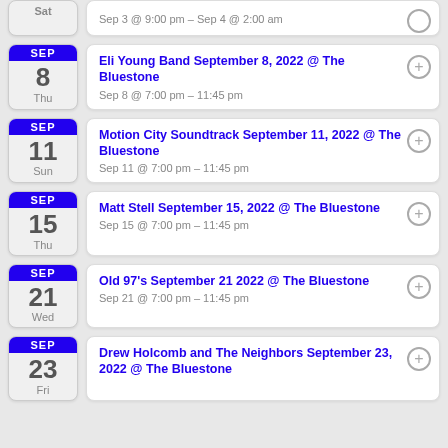Sat — Sep 3 @ 9:00 pm – Sep 4 @ 2:00 am
Eli Young Band September 8, 2022 @ The Bluestone — Sep 8 @ 7:00 pm – 11:45 pm — Thu
Motion City Soundtrack September 11, 2022 @ The Bluestone — Sep 11 @ 7:00 pm – 11:45 pm — Sun
Matt Stell September 15, 2022 @ The Bluestone — Sep 15 @ 7:00 pm – 11:45 pm — Thu
Old 97's September 21 2022 @ The Bluestone — Sep 21 @ 7:00 pm – 11:45 pm — Wed
Drew Holcomb and The Neighbors September 23, 2022 @ The Bluestone — Fri